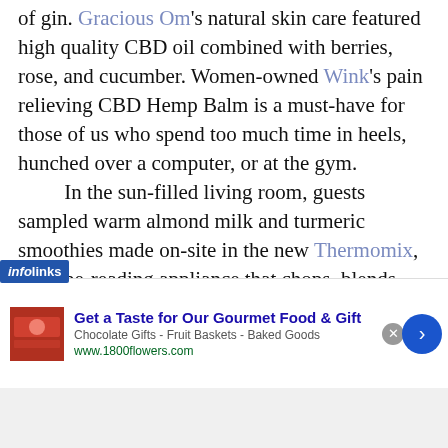of gin. Gracious Om's natural skin care featured high quality CBD oil combined with berries, rose, and cucumber. Women-owned Wink's pain relieving CBD Hemp Balm is a must-have for those of us who spend too much time in heels, hunched over a computer, or at the gym.
    In the sun-filled living room, guests sampled warm almond milk and turmeric smoothies made on-site in the new Thermomix, a recipe-reading appliance that chops, blends, cooks, and counts calories for busy people who would rather enjoy a nutritious meal at home than their umpteenth of fast food. Replacing 11 different
[Figure (screenshot): Advertisement banner: infolinks badge on left, ad for 1800flowers.com 'Get a Taste for Our Gourmet Food & Gift', with food image, close button, and next arrow button]